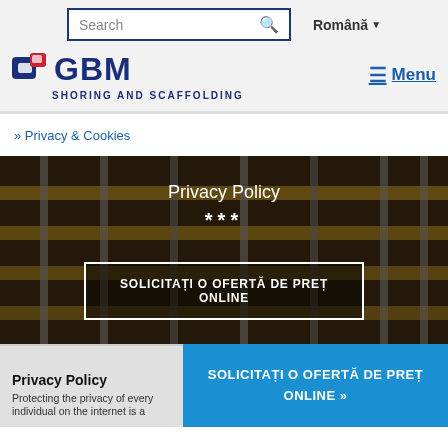[Figure (logo): GBM Shoring and Scaffolding logo with search bar and language selector in header]
» Privacy & Cookies
[Figure (photo): Background photo of scaffolding/shoring equipment with Privacy Policy title and *** subtitle, and a button 'SOLICITAȚI O OFERTĂ DE PREȚ ONLINE']
Privacy Policy
***
SOLICITAȚI O OFERTĂ DE PREȚ ONLINE
Privacy Policy
Protecting the privacy of every individual on the internet is a
SOLICITAȚI O OFERTĂ DE PREȚ ONLINE »